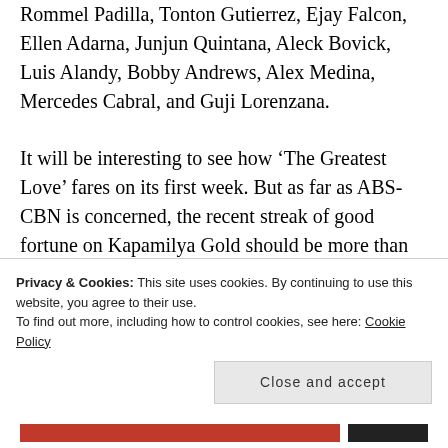Rommel Padilla, Tonton Gutierrez, Ejay Falcon, Ellen Adarna, Junjun Quintana, Aleck Bovick, Luis Alandy, Bobby Andrews, Alex Medina, Mercedes Cabral, and Guji Lorenzana.
It will be interesting to see how ‘The Greatest Love’ fares on its first week. But as far as ABS-CBN is concerned, the recent streak of good fortune on Kapamilya Gold should be more than enough to ease the
Privacy & Cookies: This site uses cookies. By continuing to use this website, you agree to their use.
To find out more, including how to control cookies, see here: Cookie Policy
Close and accept